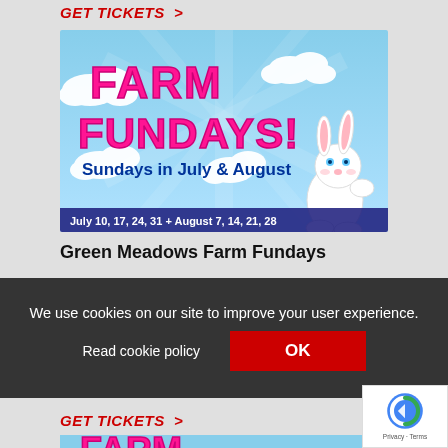GET TICKETS  >
[Figure (illustration): Farm Fundays promotional banner with pink bubbly text 'FARM FUNDAYS!' on a blue sky background with clouds and rays, a cartoon white bunny on the right, text 'Sundays in July & August' in blue, and dates 'July 10, 17, 24, 31 + August 7, 14, 21, 28' at the bottom]
Green Meadows Farm Fundays
We use cookies on our site to improve your user experience.
Read cookie policy
OK
GET TICKETS  >
[Figure (illustration): Partial Farm Fundays banner showing start of pink bubbly text on blue sky background]
[Figure (logo): reCAPTCHA logo with Privacy and Terms links]